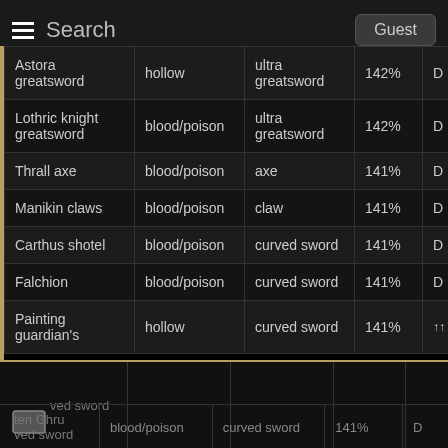Search   Guest
| Name | Infusion | Type | AR% | Str |
| --- | --- | --- | --- | --- |
| Astora greatsword | hollow | ultra greatsword | 142% | D |
| Lothric knight greatsword | blood/poison | ultra greatsword | 142% | D |
| Thrall axe | blood/poison | axe | 141% | D |
| Manikin claws | blood/poison | claw | 141% | D |
| Carthus shotel | blood/poison | curved sword | 141% | D |
| Falchion | blood/poison | curved sword | 141% | D |
| Painting guardian's | hollow | curved sword | 141% | ↑↑ |
...ved sword   ...ten Ghru ved sword   blood/poison   curved sword   141%   D